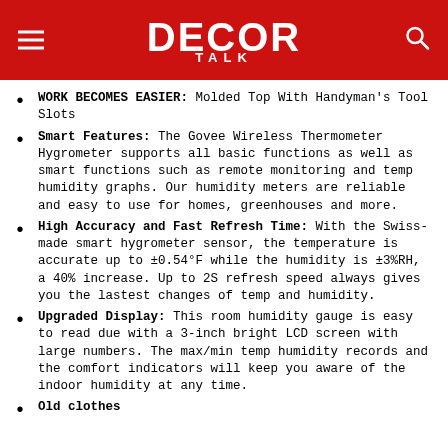DECOR TALK
WORK BECOMES EASIER: Molded Top With Handyman's Tool Slots
Smart Features: The Govee Wireless Thermometer Hygrometer supports all basic functions as well as smart functions such as remote monitoring and temp humidity graphs. Our humidity meters are reliable and easy to use for homes, greenhouses and more.
High Accuracy and Fast Refresh Time: With the Swiss-made smart hygrometer sensor, the temperature is accurate up to ±0.54°F while the humidity is ±3%RH, a 40% increase. Up to 2S refresh speed always gives you the lastest changes of temp and humidity.
Upgraded Display: This room humidity gauge is easy to read due with a 3-inch bright LCD screen with large numbers. The max/min temp humidity records and the comfort indicators will keep you aware of the indoor humidity at any time.
Old clothes